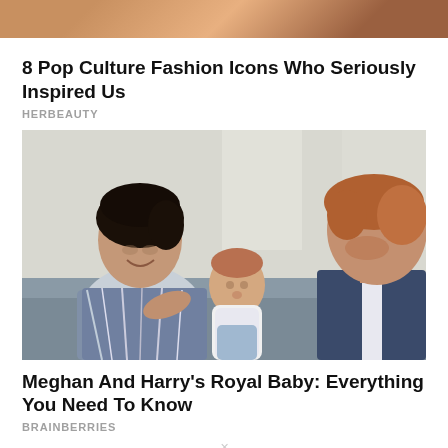[Figure (photo): Partial photo visible at top of page, showing skin tones suggesting a portrait]
8 Pop Culture Fashion Icons Who Seriously Inspired Us
HERBEAUTY
[Figure (photo): Photo of Meghan Markle holding baby Archie while Prince Harry looks on, seated indoors]
Meghan And Harry's Royal Baby: Everything You Need To Know
BRAINBERRIES